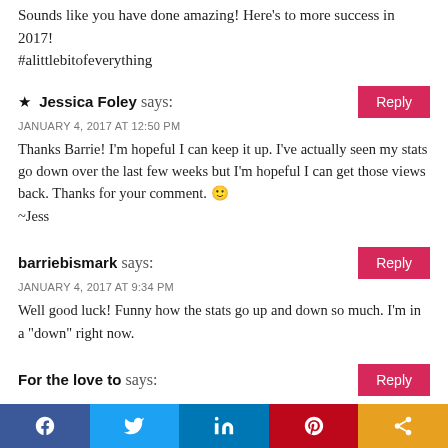Sounds like you have done amazing! Here's to more success in 2017!
#alittlebitofeverything
★ Jessica Foley says:
JANUARY 4, 2017 AT 12:50 PM
Thanks Barrie! I'm hopeful I can keep it up. I've actually seen my stats go down over the last few weeks but I'm hopeful I can get those views back. Thanks for your comment. 🙂
~Jess
barriebismark says:
JANUARY 4, 2017 AT 9:34 PM
Well good luck! Funny how the stats go up and down so much. I'm in a "down" right now.
For the love to says:
[Figure (infographic): Social share bar with five buttons: Facebook (blue), Twitter (light blue), LinkedIn (dark blue), Pinterest (red), Share (orange), each with white icons.]